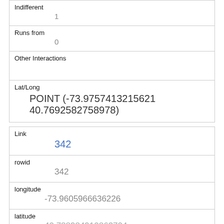| Indifferent | 1 |
| Runs from | 0 |
| Other Interactions |  |
| Lat/Long | POINT (-73.9757413215621 40.7692582758978) |
| Link | 342 |
| rowid | 342 |
| longitude | -73.9605966636226 |
| latitude | 40.788984910863704 |
| Unique Squirrel ID | 30E-AM-1008-01 |
| Hectare |  |